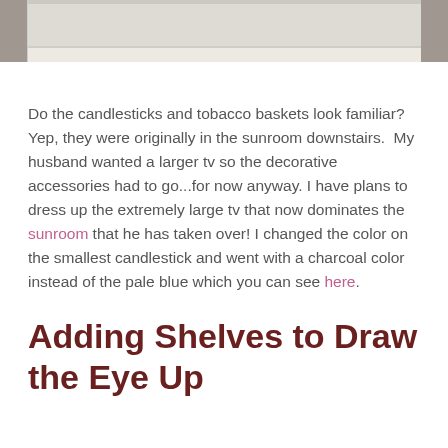[Figure (photo): Partial photo of a white furniture piece/shelf unit against a beige floor, cropped at top of page]
Do the candlesticks and tobacco baskets look familiar?  Yep, they were originally in the sunroom downstairs.  My husband wanted a larger tv so the decorative accessories had to go...for now anyway. I have plans to dress up the extremely large tv that now dominates the sunroom that he has taken over! I changed the color on the smallest candlestick and went with a charcoal color instead of the pale blue which you can see here.
Adding Shelves to Draw the Eye Up